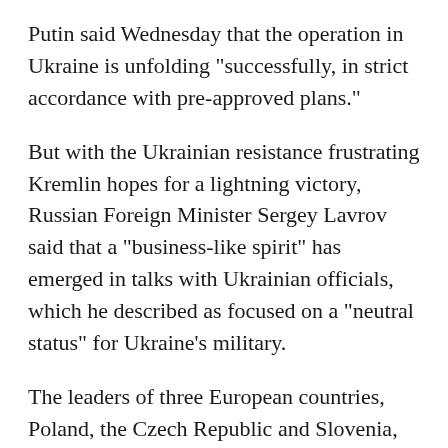Putin said Wednesday that the operation in Ukraine is unfolding "successfully, in strict accordance with pre-approved plans."
But with the Ukrainian resistance frustrating Kremlin hopes for a lightning victory, Russian Foreign Minister Sergey Lavrov said that a "business-like spirit" has emerged in talks with Ukrainian officials, which he described as focused on a "neutral status" for Ukraine's military.
The leaders of three European countries, Poland, the Czech Republic and Slovenia, returned on Wednesday from a risky trip to the besieged Ukrainian capital to show their support and meet with Zelenskyy.
Biden announced that the U.S. is sending an additional